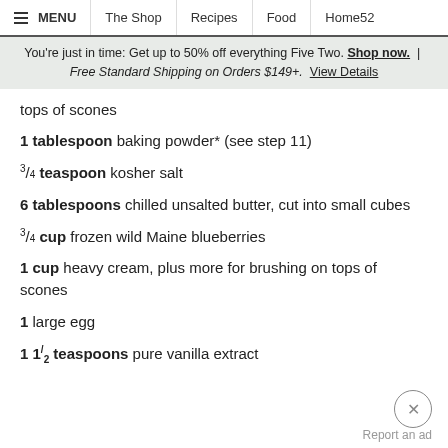MENU | The Shop | Recipes | Food | Home52
You're just in time: Get up to 50% off everything Five Two. Shop now. | Free Standard Shipping on Orders $149+. View Details
tops of scones
1 tablespoon baking powder* (see step 11)
3/4 teaspoon kosher salt
6 tablespoons chilled unsalted butter, cut into small cubes
3/4 cup frozen wild Maine blueberries
1 cup heavy cream, plus more for brushing on tops of scones
1 large egg
1 1/2 teaspoons pure vanilla extract